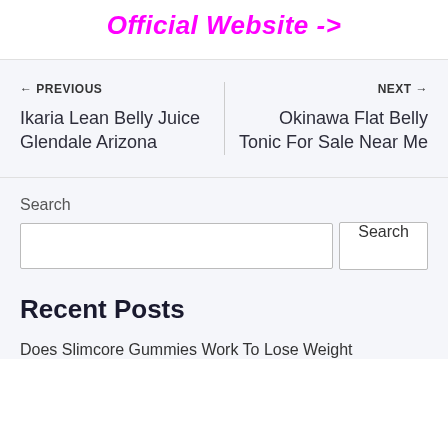Official Website ->
← PREVIOUS
Ikaria Lean Belly Juice Glendale Arizona
NEXT →
Okinawa Flat Belly Tonic For Sale Near Me
Search
Search
Recent Posts
Does Slimcore Gummies Work To Lose Weight